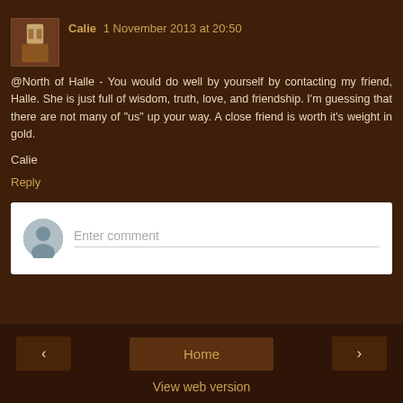Calie 1 November 2013 at 20:50
@North of Halle - You would do well by yourself by contacting my friend, Halle. She is just full of wisdom, truth, love, and friendship. I'm guessing that there are not many of "us" up your way. A close friend is worth it's weight in gold.
Calie
Reply
Enter comment
Home
View web version